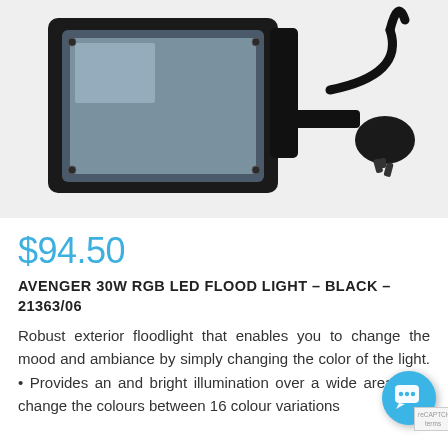[Figure (photo): Black 30W RGB LED flood light with power cable and Australian plug, photographed on white background]
$94.50
AVENGER 30W RGB LED FLOOD LIGHT - BLACK - 21363/06
Robust exterior floodlight that enables you to change the mood and ambiance by simply changing the color of the light. • Provides an and bright illumination over a wide area. Eas change the colours between 16 colour variations